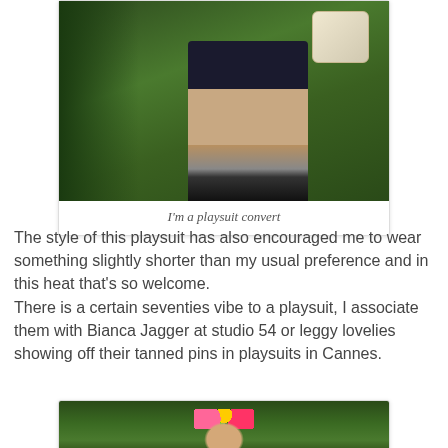[Figure (photo): Photo of a person's lower body wearing a dark playsuit with pink pattern, holding a cream/white handbag, standing on grass with green plants in background, wearing dark heeled sandals. Card-style frame with white border.]
I'm a playsuit convert
The style of this playsuit has also encouraged me to wear something slightly shorter than my usual preference and in this heat that's so welcome.
There is a certain seventies vibe to a playsuit, I associate them with Bianca Jagger at studio 54 or leggy lovelies showing off their tanned pins in playsuits in Cannes.
[Figure (photo): Photo of a person wearing a flower crown with colorful flowers (pink, yellow, red, green) in their dark hair, surrounded by green foliage/garden background.]